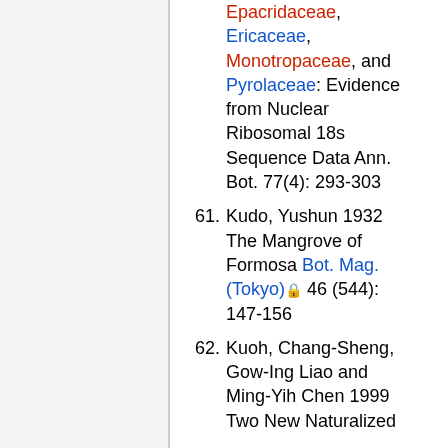Epacridaceae, Ericaceae, Monotropaceae, and Pyrolaceae: Evidence from Nuclear Ribosomal 18s Sequence Data Ann. Bot. 77(4): 293-303
61. Kudo, Yushun 1932 The Mangrove of Formosa Bot. Mag. (Tokyo) 46 (544): 147-156
62. Kuoh, Chang-Sheng, Gow-Ing Liao and Ming-Yih Chen 1999 Two New Naturalized